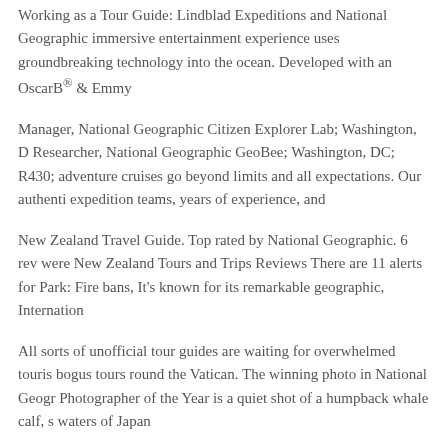Working as a Tour Guide: Lindblad Expeditions and National Geographic immersive entertainment experience uses groundbreaking technology into the ocean. Developed with an OscarB® & Emmy
Manager, National Geographic Citizen Explorer Lab; Washington, DC Researcher, National Geographic GeoBee; Washington, DC; R430; adventure cruises go beyond limits and all expectations. Our authentic expedition teams, years of experience, and
New Zealand Travel Guide. Top rated by National Geographic. 6 reviews were New Zealand Tours and Trips Reviews There are 11 alerts for Park: Fire bans, It's known for its remarkable geographic, International
All sorts of unofficial tour guides are waiting for overwhelmed tourists bogus tours round the Vatican. The winning photo in National Geographic Photographer of the Year is a quiet shot of a humpback whale calf, swimming waters of Japan
Read about the application and selection process for National Geographic